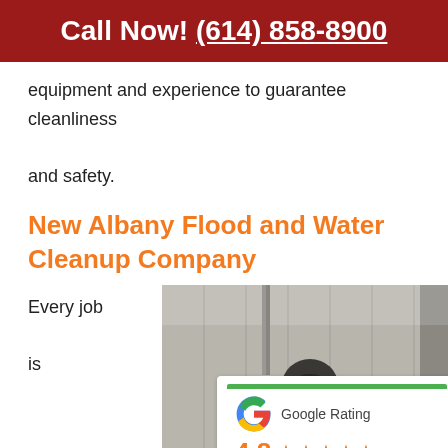Call Now! (614) 858-8900
equipment and experience to guarantee cleanliness and safety.
New Albany Flood and Water Cleanup Company
Every job is
[Figure (photo): Worker in protective gear with respirator mask inside a flood-damaged building, with a Google Rating overlay showing 4.8 stars based on 226 reviews]